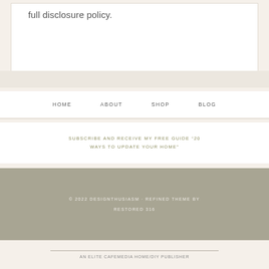full disclosure policy.
HOME   ABOUT   SHOP   BLOG
SUBSCRIBE AND RECEIVE MY FREE GUIDE “20 WAYS TO UPDATE YOUR HOME”
© 2022 DESIGNTHUSIASM · REFINED THEME BY RESTORED 316
AN ELITE CAFEMEDIA HOME/DIY PUBLISHER